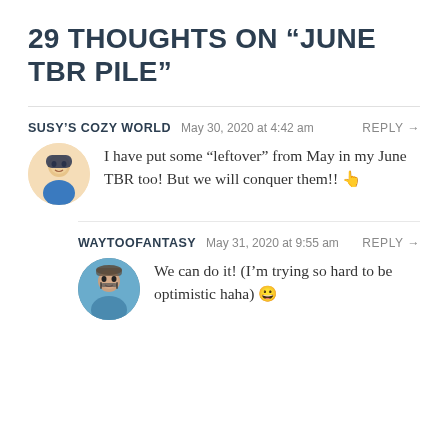29 THOUGHTS ON “JUNE TBR PILE”
SUSY’S COZY WORLD   May 30, 2020 at 4:42 am   REPLY →
I have put some “leftover” from May in my June TBR too! But we will conquer them!! 👆
WAYTOOFANTASY   May 31, 2020 at 9:55 am   REPLY →
We can do it! (I’m trying so hard to be optimistic haha) 😀